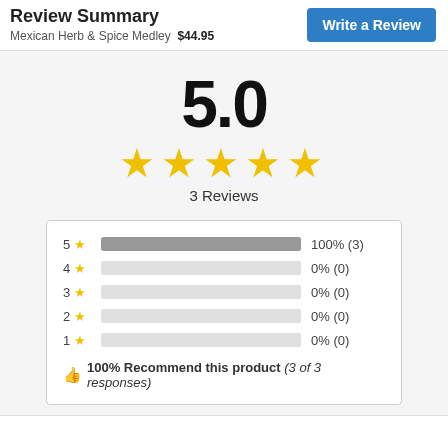Review Summary  Mexican Herb & Spice Medley  $44.95  Write a Review
5.0
[Figure (other): Five gold stars rating display]
3 Reviews
[Figure (bar-chart): Rating breakdown]
100% Recommend this product (3 of 3 responses)